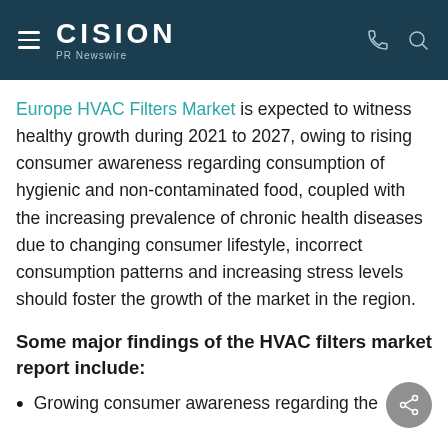CISION PR Newswire
Europe HVAC Filters Market is expected to witness healthy growth during 2021 to 2027, owing to rising consumer awareness regarding consumption of hygienic and non-contaminated food, coupled with the increasing prevalence of chronic health diseases due to changing consumer lifestyle, incorrect consumption patterns and increasing stress levels should foster the growth of the market in the region.
Some major findings of the HVAC filters market report include:
Growing consumer awareness regarding the